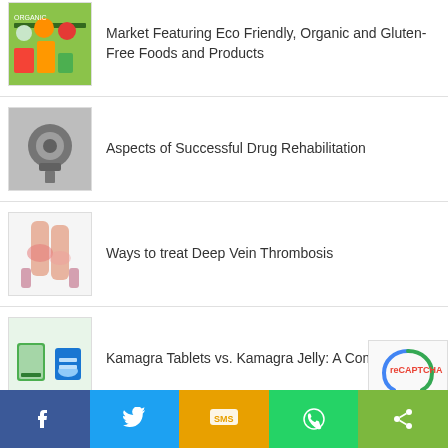Market Featuring Eco Friendly, Organic and Gluten-Free Foods and Products
Aspects of Successful Drug Rehabilitation
Ways to treat Deep Vein Thrombosis
Kamagra Tablets vs. Kamagra Jelly: A Comparison
The Art and Science of Customer Satisfaction in the Success of an Organization
[Figure (infographic): Social sharing bar with Facebook, Twitter, SMS, WhatsApp, and Share buttons]